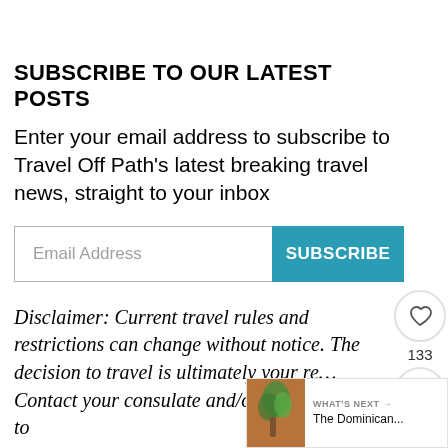SUBSCRIBE TO OUR LATEST POSTS
Enter your email address to subscribe to Travel Off Path's latest breaking travel news, straight to your inbox
Disclaimer: Current travel rules and restrictions can change without notice. The decision to travel is ultimately your re... Contact your consulate and/or local authorities to